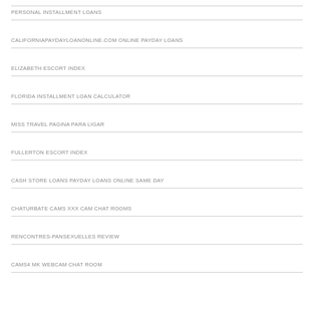PERSONAL INSTALLMENT LOANS
CALIFORNIAPAYDAYLOANONLINE.COM ONLINE PAYDAY LOANS
ELIZABETH ESCORT INDEX
FLORIDA INSTALLMENT LOAN CALCULATOR
MISS TRAVEL PAGINA PARA LIGAR
FULLERTON ESCORT INDEX
CASH STORE LOANS PAYDAY LOANS ONLINE SAME DAY
CHATURBATE CAMS XXX CAM CHAT ROOMS
RENCONTRES-PANSEXUELLES REVIEW
CAMS4 MK WEBCAM CHAT ROOM